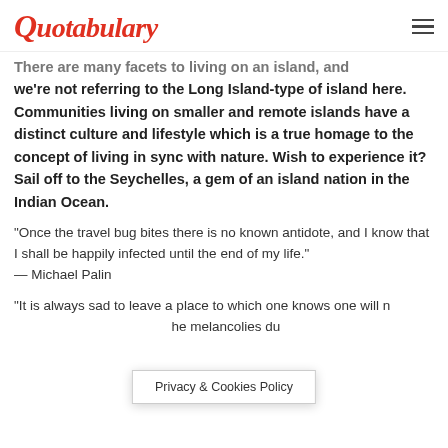Quotabulary
There are many facets to living on an island, and we're not referring to the Long Island-type of island here. Communities living on smaller and remote islands have a distinct culture and lifestyle which is a true homage to the concept of living in sync with nature. Wish to experience it? Sail off to the Seychelles, a gem of an island nation in the Indian Ocean.
“Once the travel bug bites there is no known antidote, and I know that I shall be happily infected until the end of my life.”
— Michael Palin
“It is always sad to leave a place to which one knows one will n… he melancolies du
Privacy & Cookies Policy